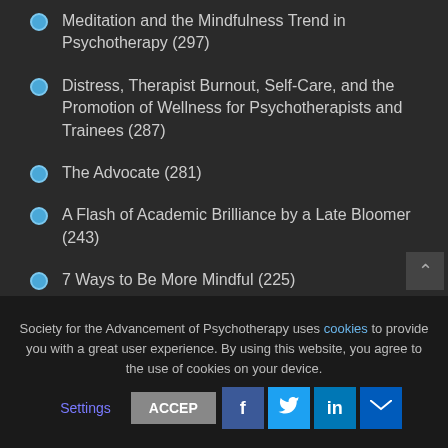Meditation and the Mindfulness Trend in Psychotherapy (297)
Distress, Therapist Burnout, Self-Care, and the Promotion of Wellness for Psychotherapists and Trainees (287)
The Advocate (281)
A Flash of Academic Brilliance by a Late Bloomer (243)
7 Ways to Be More Mindful (225)
Using Cognitive Behavioral Therapy to Assist Individuals Facing Oppression (210)
Society for the Advancement of Psychotherapy uses cookies to provide you with a great user experience. By using this website, you agree to the use of cookies on your device.